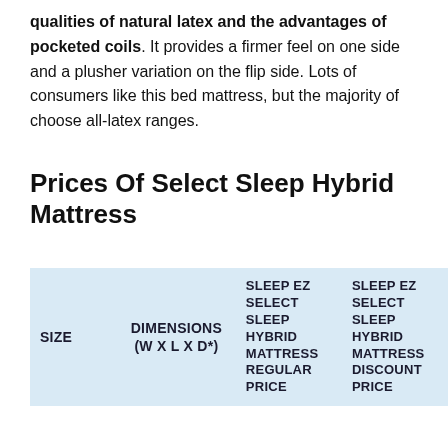qualities of natural latex and the advantages of pocketed coils. It provides a firmer feel on one side and a plusher variation on the flip side. Lots of consumers like this bed mattress, but the majority of choose all-latex ranges.
Prices Of Select Sleep Hybrid Mattress
| SIZE | DIMENSIONS (W x L x D*) | SLEEP EZ SELECT SLEEP HYBRID MATTRESS REGULAR PRICE | SLEEP EZ SELECT SLEEP HYBRID MATTRESS DISCOUNT PRICE |
| --- | --- | --- | --- |